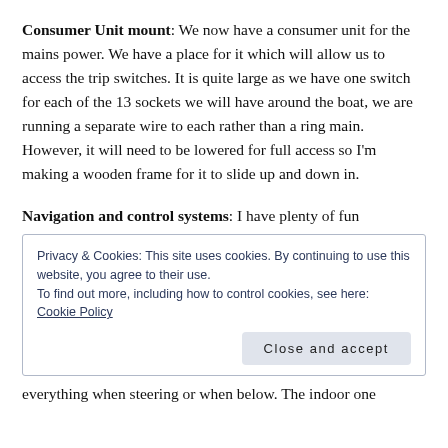Consumer Unit mount: We now have a consumer unit for the mains power. We have a place for it which will allow us to access the trip switches. It is quite large as we have one switch for each of the 13 sockets we will have around the boat, we are running a separate wire to each rather than a ring main. However, it will need to be lowered for full access so I'm making a wooden frame for it to slide up and down in.
Navigation and control systems: I have plenty of fun
Privacy & Cookies: This site uses cookies. By continuing to use this website, you agree to their use.
To find out more, including how to control cookies, see here: Cookie Policy
Close and accept
everything when steering or when below. The indoor one